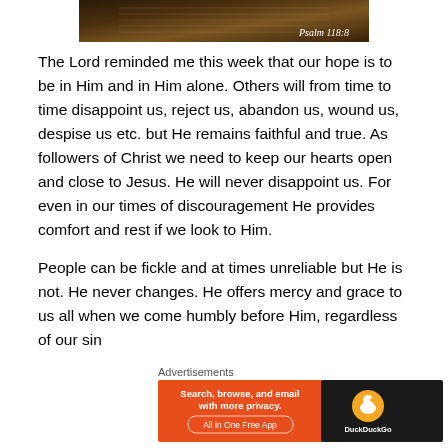[Figure (photo): A Bible open to a page, dark toned photo with text overlay reading 'Psalm 118:8']
The Lord reminded me this week that our hope is to be in Him and in Him alone. Others will from time to time disappoint us, reject us, abandon us, wound us, despise us etc. but He remains faithful and true. As followers of Christ we need to keep our hearts open and close to Jesus.  He will never disappoint us.  For even in our times of discouragement He provides comfort and rest if we look to Him.
People can be fickle and at times unreliable but He is not. He never changes. He offers mercy and grace to us all when we come humbly before Him, regardless of our sin
Advertisements
[Figure (screenshot): DuckDuckGo advertisement banner: 'Search, browse, and email with more privacy. All in One Free App' with DuckDuckGo logo]